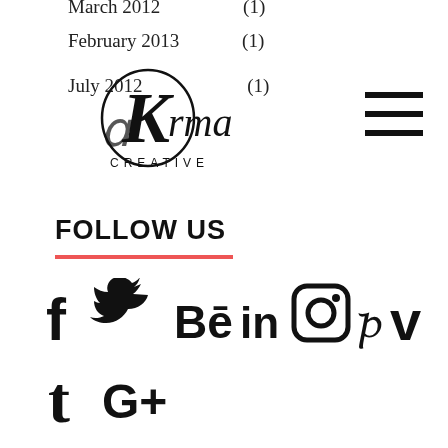February 2013   (1)
July 2012   (1)
[Figure (logo): Karma Creative logo with decorative circular K monogram and text reading KARMA CREATIVE]
[Figure (other): Hamburger menu icon with three horizontal lines]
FOLLOW US
[Figure (other): Social media icons row 1: Facebook, Twitter, Behance, LinkedIn, Instagram, Pinterest, Vimeo]
[Figure (other): Social media icons row 2: Tumblr, Google+]
NEWSLETTER
Name
Email